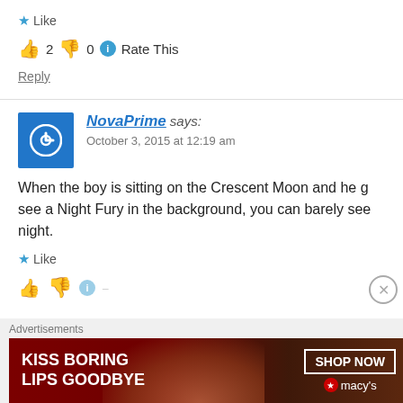★ Like
👍 2  👎 0  ℹ Rate This
Reply
NovaPrime says:
October 3, 2015 at 12:19 am
When the boy is sitting on the Crescent Moon and he g... see a Night Fury in the background, you can barely see... night.
★ Like
[Figure (infographic): Macy's advertisement banner: KISS BORING LIPS GOODBYE with SHOP NOW button and Macy's star logo]